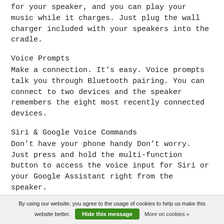for your speaker, and you can play your music while it charges. Just plug the wall charger included with your speakers into the cradle.
Voice Prompts
Make a connection. It’s easy. Voice prompts talk you through Bluetooth pairing. You can connect to two devices and the speaker remembers the eight most recently connected devices.
Siri & Google Voice Commands
Don’t have your phone handy Don’t worry. Just press and hold the multi-function button to access the voice input for Siri or your Google Assistant right from the speaker.
Battery
By using our website, you agree to the usage of cookies to help us make this website better.